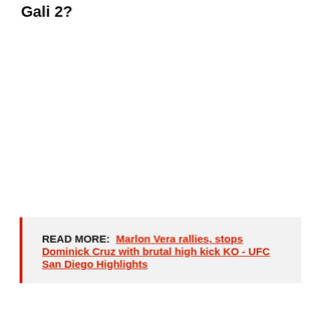Gali 2?
READ MORE: Marlon Vera rallies, stops Dominick Cruz with brutal high kick KO - UFC San Diego Highlights